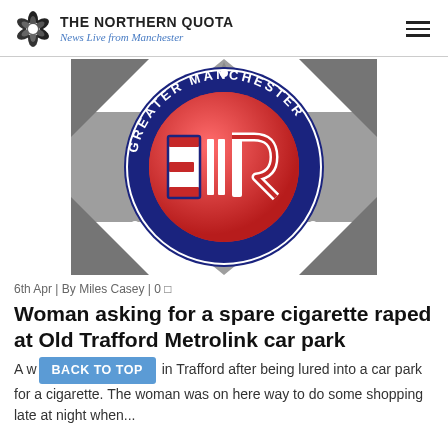THE NORTHERN QUOTA — News Live from Manchester
[Figure (logo): Greater Manchester Police badge/crest with blue ring reading 'GREATER MANCHESTER', red circle center with E II R royal cypher, grey geometric star background]
6th Apr | By Miles Casey | 0
Woman asking for a spare cigarette raped at Old Trafford Metrolink car park
A w[oman was raped] in Trafford after being lured into a car park for a cigarette. The woman was on here way to do some shopping late at night when...